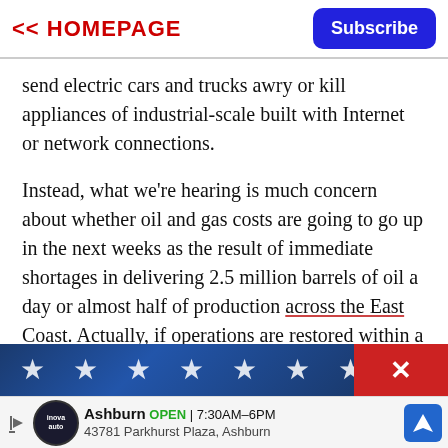<< HOMEPAGE | Subscribe
send electric cars and trucks awry or kill appliances of industrial-scale built with Internet or network connections.
Instead, what we're hearing is much concern about whether oil and gas costs are going to go up in the next weeks as the result of immediate shortages in delivering 2.5 million barrels of oil a day or almost half of production across the East Coast. Actually, if operations are restored within a week, even that result is unlikely.
[Figure (photo): American flag close-up showing white stars on blue background]
[Figure (other): Advertisement bar: Inova Auto logo, Ashburn OPEN 7:30AM-6PM, 43781 Parkhurst Plaza, Ashburn, navigation icon]